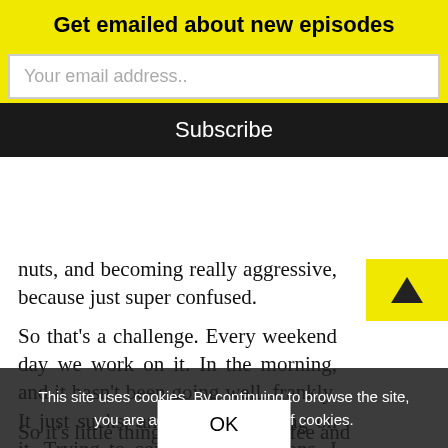Get emailed about new episodes
Your email address..
Subscribe
nuts, and becoming really aggressive, because just super confused.
So that’s a challenge. Every weekend day we work on it. In the morning, and it hasn’t been going well, frankly. It just sucks, and so I’m working on it. Trying to control my emotions. I need a little support and understanding, probably a lot, from my family to let me do things like make coffee and things that allow me to see how well I’m feeling with my motor skills, but also allowing myself. Skinning the coffee, and I can go sit and have coffee that I made.
This site uses cookies. By continuing to browse the site, you are agreeing to our use of cookies.
OK
So it’s little things, li... and have coffee and ...